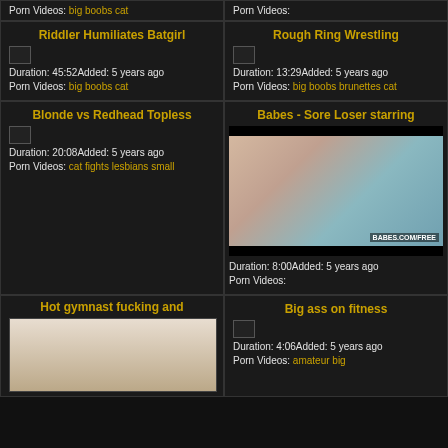Porn Videos: big boobs cat
Porn Videos:
Riddler Humiliates Batgirl
Duration: 45:52Added: 5 years ago
Porn Videos: big boobs cat
Rough Ring Wrestling
Duration: 13:29Added: 5 years ago
Porn Videos: big boobs brunettes cat
Blonde vs Redhead Topless
Duration: 20:08Added: 5 years ago
Porn Videos: cat fights lesbians small
Babes - Sore Loser starring
[Figure (photo): Woman with red/auburn hair tilted back, wearing teal top, BABES.com/FREE watermark]
Duration: 8:00Added: 5 years ago
Porn Videos:
Hot gymnast fucking and
[Figure (photo): Person in white setting with hookah/shisha pipe]
Big ass on fitness
Duration: 4:06Added: 5 years ago
Porn Videos: amateur big